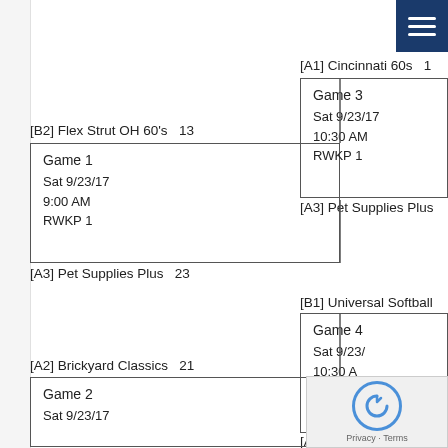[Figure (flowchart): Tournament bracket showing Game 1 (Sat 9/23/17 9:00 AM RWKP 1) between [B2] Flex Strut OH 60's (13) and [A3] Pet Supplies Plus (23), Game 2 (Sat 9/23/17) between [A2] Brickyard Classics (21) and another team, Game 3 (Sat 9/23/17 10:30 AM RWKP 1) between [A1] Cincinnati 60s and [A3] Pet Supplies Plus, Game 4 (Sat 9/23/17 10:30 AM RWKP 2) between [B1] Universal Softball and [A2] Brickyard Classics]